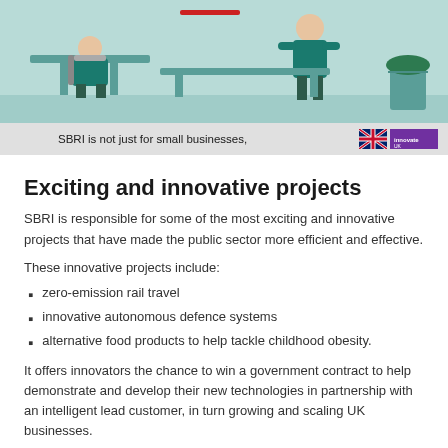[Figure (illustration): Illustrated scene showing office workers in a teal/green color scheme with a person at a desk and another standing, with a plant in a bucket. Caption bar reads 'SBRI is not just for small businesses,' with UK and Innovate UK logos.]
SBRI is not just for small businesses,
Exciting and innovative projects
SBRI is responsible for some of the most exciting and innovative projects that have made the public sector more efficient and effective.
These innovative projects include:
zero-emission rail travel
innovative autonomous defence systems
alternative food products to help tackle childhood obesity.
It offers innovators the chance to win a government contract to help demonstrate and develop their new technologies in partnership with an intelligent lead customer, in turn growing and scaling UK businesses.